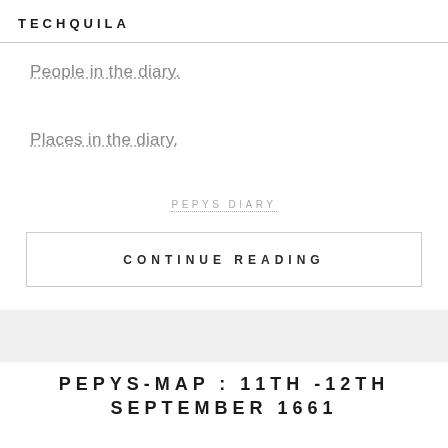TECHQUILA
People in the diary.
Places in the diary.
PEPYS DIARY
CONTINUE READING
PEPYS-MAP : 11TH -12TH SEPTEMBER 1661